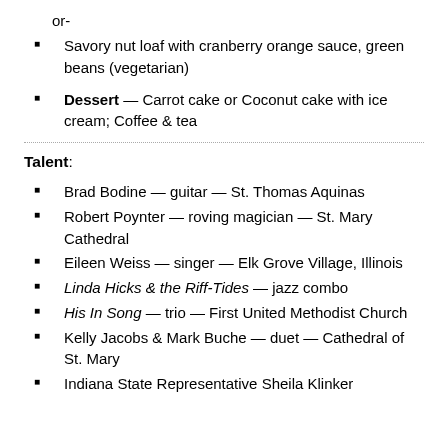or-
Savory nut loaf with cranberry orange sauce, green beans (vegetarian)
Dessert — Carrot cake or Coconut cake with ice cream; Coffee & tea
Talent:
Brad Bodine — guitar — St. Thomas Aquinas
Robert Poynter — roving magician — St. Mary Cathedral
Eileen Weiss — singer — Elk Grove Village, Illinois
Linda Hicks & the Riff-Tides — jazz combo
His In Song — trio — First United Methodist Church
Kelly Jacobs & Mark Buche — duet — Cathedral of St. Mary
Indiana State Representative Sheila Klinker